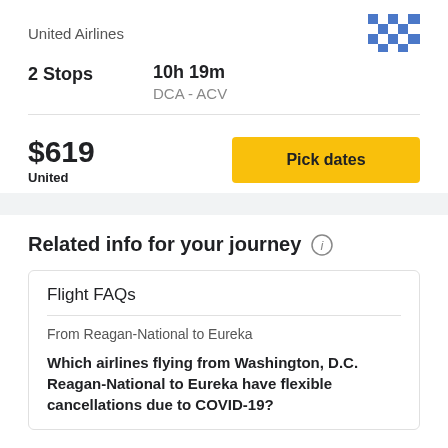United Airlines
2 Stops
10h 19m
DCA - ACV
$619
United
Pick dates
Related info for your journey
Flight FAQs
From Reagan-National to Eureka
Which airlines flying from Washington, D.C. Reagan-National to Eureka have flexible cancellations due to COVID-19?